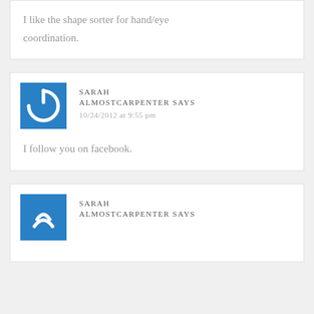I like the shape sorter for hand/eye coordination.
[Figure (photo): Blue square avatar with white power button icon - Sarah Almostcarpenter]
SARAH ALMOSTCARPENTER SAYS
10/24/2012 at 9:55 pm
I follow you on facebook.
[Figure (photo): Blue square avatar with white icon - Sarah Almostcarpenter (partial, cropped at bottom)]
SARAH ALMOSTCARPENTER SAYS